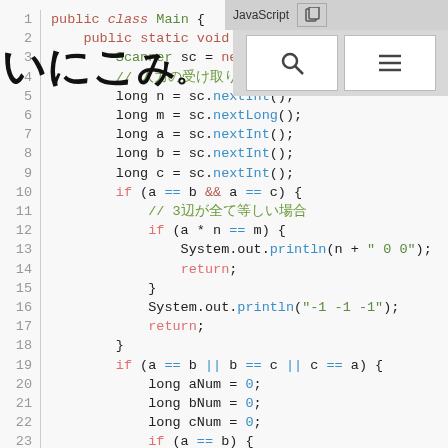[Figure (screenshot): Java code editor showing lines 1-23 of a Main class with syntax highlighting. Includes a Japanese text overlay and navigation icons in top right.]
いにこみ。 (Japanese overlay text)